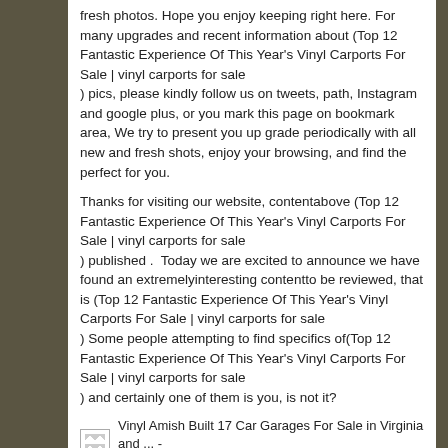fresh photos. Hope you enjoy keeping right here. For many upgrades and recent information about (Top 12 Fantastic Experience Of This Year's Vinyl Carports For Sale | vinyl carports for sale
) pics, please kindly follow us on tweets, path, Instagram and google plus, or you mark this page on bookmark area, We try to present you up grade periodically with all new and fresh shots, enjoy your browsing, and find the perfect for you.
Thanks for visiting our website, contentabove (Top 12 Fantastic Experience Of This Year's Vinyl Carports For Sale | vinyl carports for sale
) published .  Today we are excited to announce we have found an extremelyinteresting contentto be reviewed, that is (Top 12 Fantastic Experience Of This Year's Vinyl Carports For Sale | vinyl carports for sale
) Some people attempting to find specifics of(Top 12 Fantastic Experience Of This Year's Vinyl Carports For Sale | vinyl carports for sale
) and certainly one of them is you, is not it?
[Figure (photo): Small broken/placeholder image icon followed by caption text: 'Vinyl Amish Built 17 Car Garages For Sale in Virginia and ... - vinyl carports for sale']